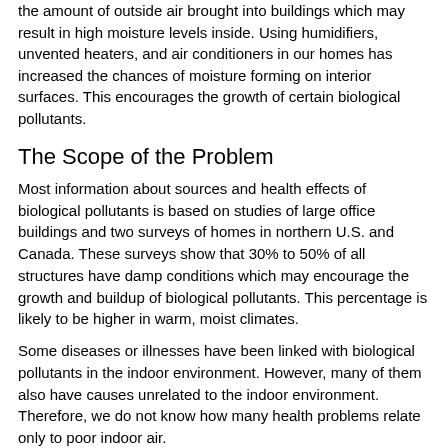the amount of outside air brought into buildings which may result in high moisture levels inside. Using humidifiers, unvented heaters, and air conditioners in our homes has increased the chances of moisture forming on interior surfaces. This encourages the growth of certain biological pollutants.
The Scope of the Problem
Most information about sources and health effects of biological pollutants is based on studies of large office buildings and two surveys of homes in northern U.S. and Canada. These surveys show that 30% to 50% of all structures have damp conditions which may encourage the growth and buildup of biological pollutants. This percentage is likely to be higher in warm, moist climates.
Some diseases or illnesses have been linked with biological pollutants in the indoor environment. However, many of them also have causes unrelated to the indoor environment. Therefore, we do not know how many health problems relate only to poor indoor air.
Health Effects of Biological Pollutants
All of us are exposed to biological pollutants. However, the